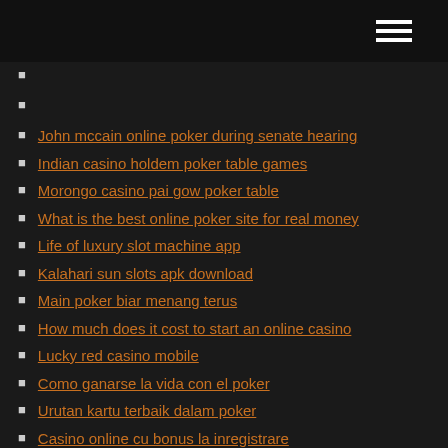John mccain online poker during senate hearing
Indian casino holdem poker table games
Morongo casino pai gow poker table
What is the best online poker site for real money
Life of luxury slot machine app
Kalahari sun slots apk download
Main poker biar menang terus
How much does it cost to start an online casino
Lucky red casino mobile
Como ganarse la vida con el poker
Urutan kartu terbaik dalam poker
Casino online cu bonus la inregistrare